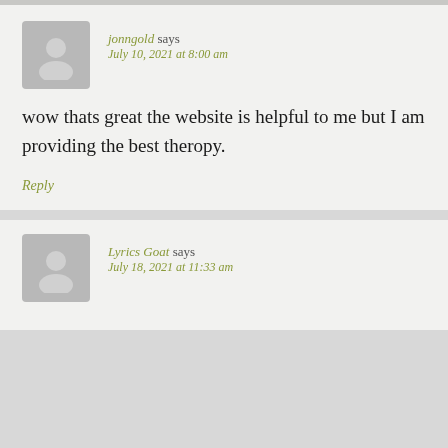jonngold says
July 10, 2021 at 8:00 am
wow thats great the website is helpful to me but I am providing the best theropy.
Reply
Lyrics Goat says
July 18, 2021 at 11:33 am